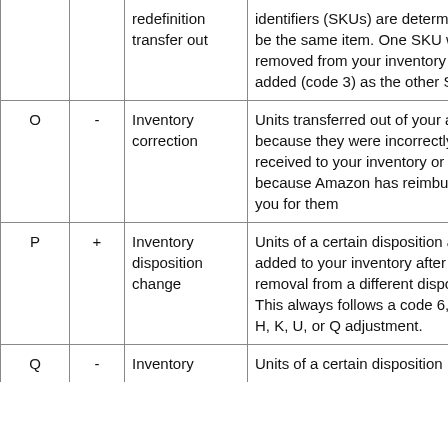| Code | Sign | Name | Description |
| --- | --- | --- | --- |
|  |  | redefinition transfer out | identifiers (SKUs) are determined to be the same item. One SKU will be removed from your inventory and added (code 3) as the other SKU. |
| O | - | Inventory correction | Units transferred out of your account because they were incorrectly received to your inventory or because Amazon has reimbursed you for them |
| P | + | Inventory disposition change | Units of a certain disposition are added to your inventory after the removal from a different disposition. This always follows a code 6, 7, E, H, K, U, or Q adjustment. |
| Q | - | Inventory disposition change | Units of a certain disposition |